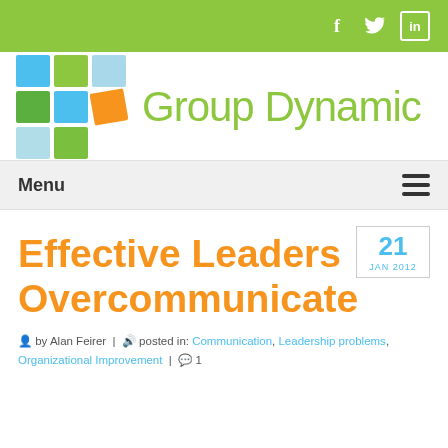Group Dynamic — social navigation bar with Facebook, Twitter, LinkedIn icons
[Figure (logo): Group Dynamic logo: colored grid of squares (blue, green, light blue, dark green, orange, light cyan) with brand name 'Group Dynamic' in olive-green]
Menu
Effective Leaders Overcommunicate
21 JAN 2012
by Alan Feirer | posted in: Communication, Leadership problems, Organizational Improvement | 1